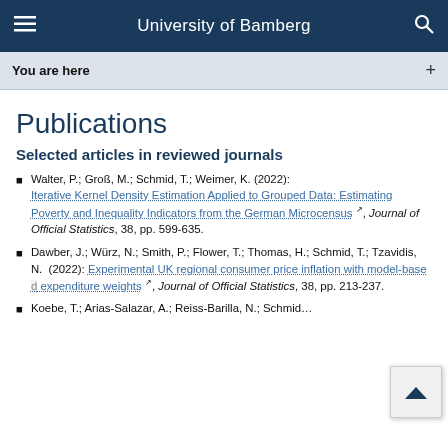University of Bamberg
You are here +
Publications
Selected articles in reviewed journals
Walter, P.; Groß, M.; Schmid, T.; Weimer, K. (2022): Iterative Kernel Density Estimation Applied to Grouped Data: Estimating Poverty and Inequality Indicators from the German Microcensus, Journal of Official Statistics, 38, pp. 599-635.
Dawber, J.; Würz, N.; Smith, P.; Flower, T.; Thomas, H.; Schmid, T.; Tzavidis, N. (2022): Experimental UK regional consumer price inflation with model-based expenditure weights, Journal of Official Statistics, 38, pp. 213-237.
Koebe, T.; Arias-Salazar, A.; Reiss-Barilla, N.; Schmid…